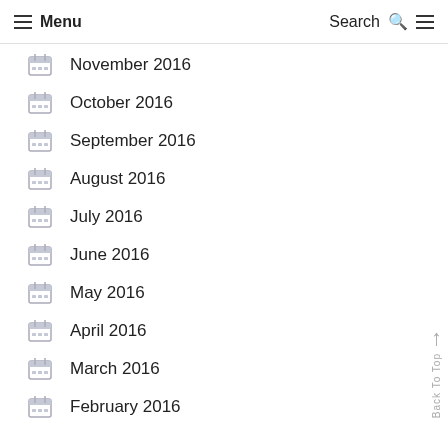Menu | Search
November 2016
October 2016
September 2016
August 2016
July 2016
June 2016
May 2016
April 2016
March 2016
February 2016